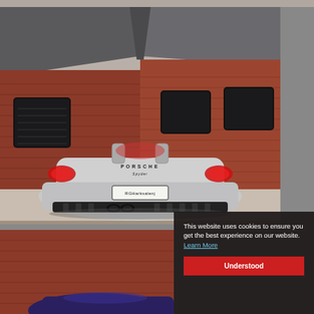[Figure (photo): Rear view of a silver Porsche Spyder convertible sports car parked on a gravel driveway in front of a red brick building with dark framed windows and a slate roof. Dealer plate reads RGHarksalenj.]
[Figure (photo): Partial view of another car photo at bottom left showing red brick building background.]
This website uses cookies to ensure you get the best experience on our website. Learn More
Understood